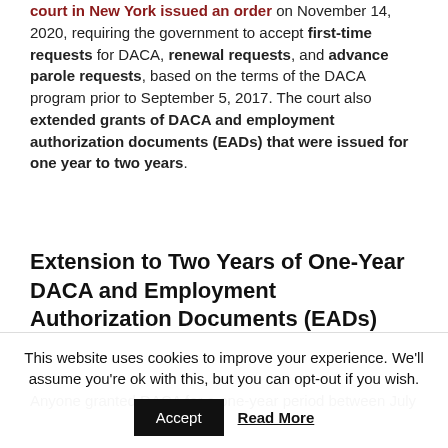court in New York issued an order on November 14, 2020, requiring the government to accept first-time requests for DACA, renewal requests, and advance parole requests, based on the terms of the DACA program prior to September 5, 2017. The court also extended grants of DACA and employment authorization documents (EADs) that were issued for one year to two years.
Extension to Two Years of One-Year DACA and Employment Authorization Documents (EADs)
Anyone granted DACA for a one-year period between July
This website uses cookies to improve your experience. We'll assume you're ok with this, but you can opt-out if you wish. Accept Read More